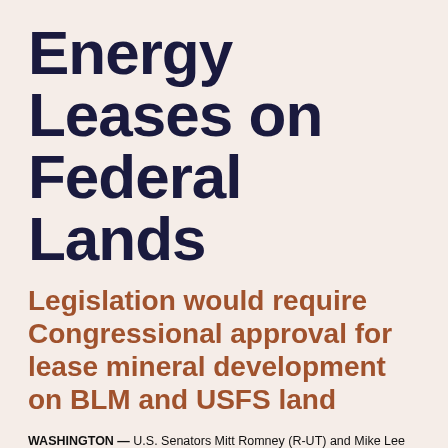Energy Leases on Federal Lands
Legislation would require Congressional approval for lease mineral development on BLM and USFS land
WASHINGTON — U.S. Senators Mitt Romney (R-UT) and Mike Lee (R-UT) joined their colleagues, led by Senator Cynthia Lummis (R-WY), in introducing the Protecting our Wealth of Energy Resources (POWER) Act of 2021. The POWER Act would prohibit the president or his secretaries of the Interior, Agriculture, and Energy departments from blocking energy or mineral leasing and permitting on federal lands and waters